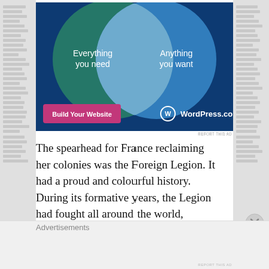[Figure (infographic): WordPress.com advertisement showing a Venn diagram with two overlapping circles. Left circle (teal/green): 'Everything you need'. Right circle (blue): 'Anything you want'. Overlapping area is light. Button 'Build Your Website' in pink/magenta. WordPress.com logo on right.]
REPORT THIS AD
The spearhead for France reclaiming her colonies was the Foreign Legion. It had a proud and colourful history. During its formative years, the Legion had fought all around the world, including
Advertisements
REPORT THIS AD